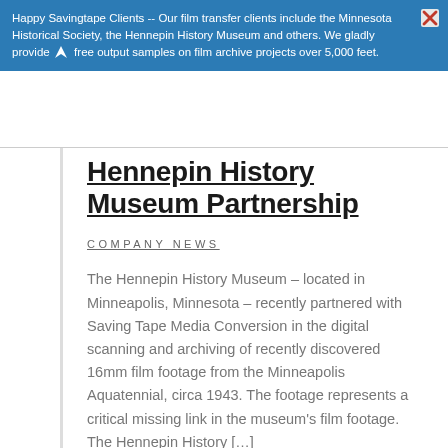Happy Savingtape Clients -- Our film transfer clients include the Minnesota Historical Society, the Hennepin History Museum and others. We gladly provide free output samples on film archive projects over 5,000 feet.
Hennepin History Museum Partnership
COMPANY NEWS
The Hennepin History Museum – located in Minneapolis, Minnesota – recently partnered with Saving Tape Media Conversion in the digital scanning and archiving of recently discovered 16mm film footage from the Minneapolis Aquatennial, circa 1943. The footage represents a critical missing link in the museum's film footage. The Hennepin History [...]
READ MORE »